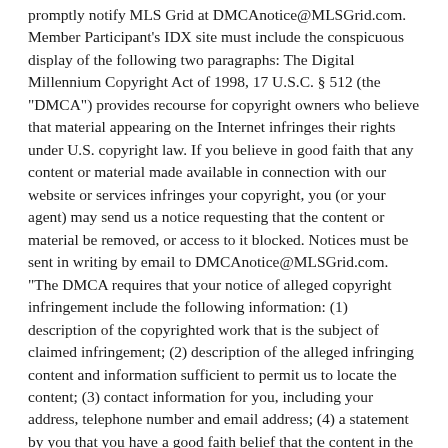Member Participant's IDX site must include the conspicuous display of the following two paragraphs: The Digital Millennium Copyright Act of 1998, 17 U.S.C. § 512 (the "DMCA") provides recourse for copyright owners who believe that material appearing on the Internet infringes their rights under U.S. copyright law. If you believe in good faith that any content or material made available in connection with our website or services infringes your copyright, you (or your agent) may send us a notice requesting that the content or material be removed, or access to it blocked. Notices must be sent in writing by email to DMCAnotice@MLSGrid.com. "The DMCA requires that your notice of alleged copyright infringement include the following information: (1) description of the copyrighted work that is the subject of claimed infringement; (2) description of the alleged infringing content and information sufficient to permit us to locate the content; (3) contact information for you, including your address, telephone number and email address; (4) a statement by you that you have a good faith belief that the content in the manner complained of is not authorized by the copyright owner, or its agent, or by the operation of any law; (5) a statement by